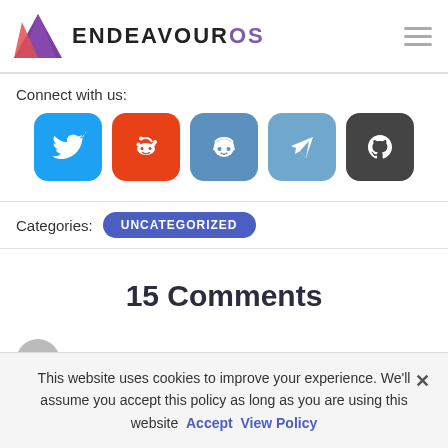[Figure (logo): EndeavourOS logo with purple triangle icon and bold 'ENDEAVOUROS' text where 'OS' is in purple]
Connect with us:
[Figure (infographic): Row of 5 social media icons: Twitter (blue bird), Reddit (orange alien), Discord (blue robot face), Telegram (blue paper plane), GitHub (dark cat/octocat)]
Categories:
UNCATEGORIZED
15 Comments
FastGame
This website uses cookies to improve your experience. We'll assume you accept this policy as long as you are using this website  Accept  View Policy